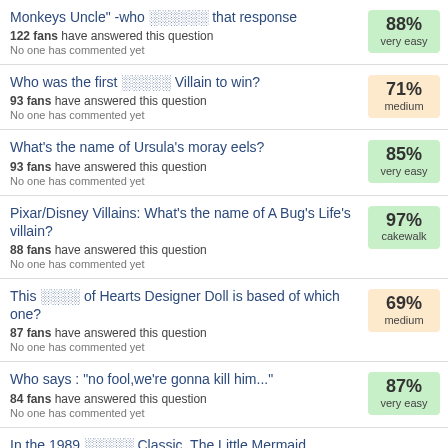Monkeys Uncle" -who ░░░░░░ that response | 88% very easy | 122 fans have answered this question | No one has commented yet
Who was the first ░░░░░ Villain to win? | 71% medium | 93 fans have answered this question | No one has commented yet
What's the name of Ursula's moray eels? | 85% very easy | 93 fans have answered this question | No one has commented yet
Pixar/Disney Villains: What's the name of A Bug's Life's villain? | 97% cakewalk | 88 fans have answered this question | No one has commented yet
This ░░░░ of Hearts Designer Doll is based of which one? | 69% medium | 87 fans have answered this question | No one has commented yet
Who says : "no fool,we're gonna kill him..." | 87% very easy | 84 fans have answered this question | No one has commented yet
In the 1989 ░░░░░ Classic, The Little Mermaid